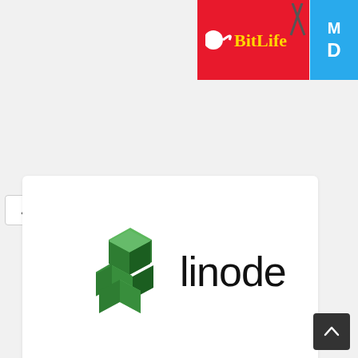[Figure (screenshot): BitLife app advertisement banner, red background with yellow BitLife logo text and white icon]
[Figure (screenshot): Blue tab partially visible with letters M and D]
[Figure (logo): Linode logo with green 3D cube blocks icon and 'linode' text]
[Figure (screenshot): AliExpress Summer Sale advertisement with pink background, Official picks text, Shop now button, and product images]